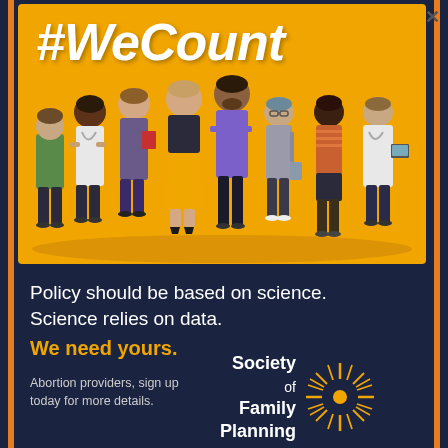#WeCount
[Figure (illustration): Group of diverse people standing together including doctors and professionals on an orange background]
Policy should be based on science. Science relies on data.
We need yours.
Abortion providers, sign up today for more details.
[Figure (logo): Society of Family Planning logo with starburst graphic]